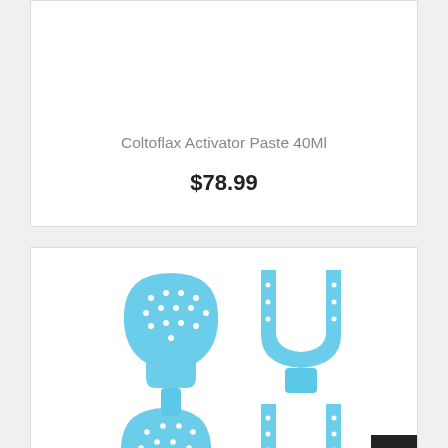Coltoflax Activator Paste 40Ml
$78.99
[Figure (photo): Blue dental impression trays arranged in rows — three rows of two trays each, showing both upper (perforated arch shape) and lower (U-shape) impression trays in light blue plastic]